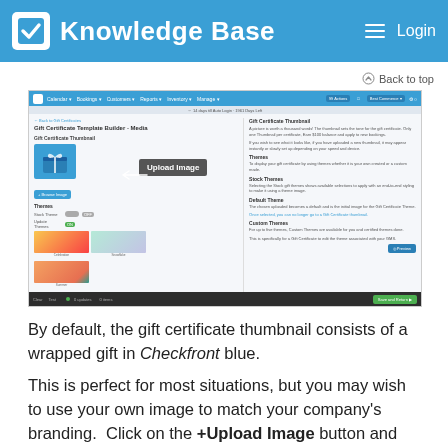Knowledge Base   Login
Back to top
[Figure (screenshot): Screenshot of Checkfront Knowledge Base showing the Gift Certificate Template Builder - Media page with Upload Image callout, theme selection options, and gift certificate thumbnails.]
By default, the gift certificate thumbnail consists of a wrapped gift in Checkfront blue.
This is perfect for most situations, but you may wish to use your own image to match your company's branding.  Click on the +Upload Image button and select the chosen image from your computer. Once the image is loaded, it is resized